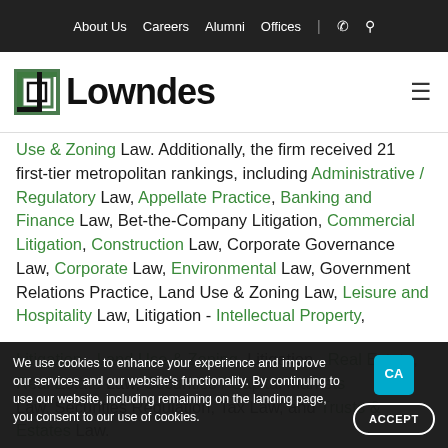About Us  Careers  Alumni  Offices  |  📞  🔍
[Figure (logo): Lowndes law firm logo — square bracket icon in green/black with bold 'Lowndes' wordmark]
Use & Zoning Law. Additionally, the firm received 21 first-tier metropolitan rankings, including Administrative / Regulatory Law, Appellate Practice, Banking and Finance Law, Bet-the-Company Litigation, Commercial Litigation, Construction Law, Corporate Governance Law, Corporate Law, Environmental Law, Government Relations Practice, Land Use & Zoning Law, Leisure and Hospitality Law, Litigation - Intellectual Property, [Litigation - Land Use & Zoning, Litigation -] [Real Estate,] [Real Estate Law, Securities / Capital Markets] Law, Securities Regulation, Tax Law, and Trusts & Estates Law.
We use cookies to enhance your experience and improve our services and our website's functionality. By continuing to use our website, including remaining on the landing page, you consent to our use of cookies.